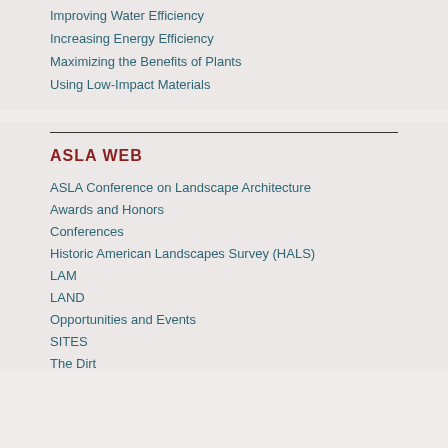Improving Water Efficiency
Increasing Energy Efficiency
Maximizing the Benefits of Plants
Using Low-Impact Materials
ASLA WEB
ASLA Conference on Landscape Architecture
Awards and Honors
Conferences
Historic American Landscapes Survey (HALS)
LAM
LAND
Opportunities and Events
SITES
The Dirt